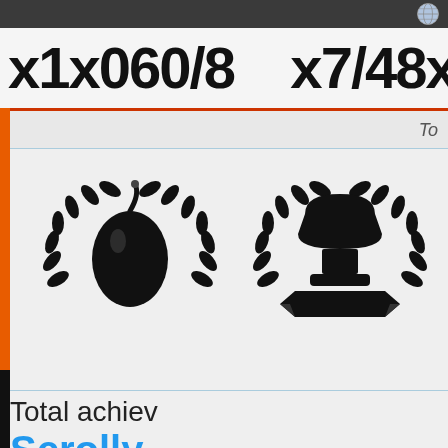x1x060/8   x7/48x33 x5
To
[Figure (illustration): Two achievement badge icons: left badge shows a bomb/grenade inside a laurel wreath; right badge shows an anvil or crafting station inside a laurel wreath with a ribbon banner below]
Total achiev
Scrolly